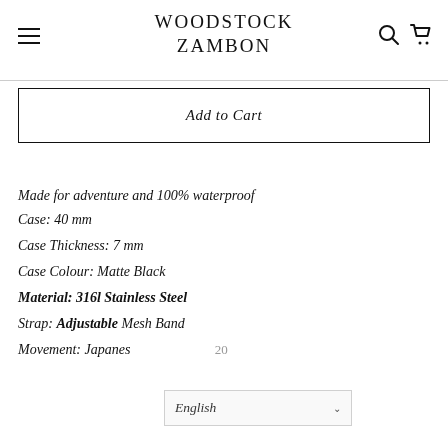WOODSTOCK ZAMBON
Add to Cart
Made for adventure and 100% waterproof
Case: 40 mm
Case Thickness: 7 mm
Case Colour: Matte Black
Material: 316l Stainless Steel
Strap: Adjustable Mesh Band
Movement: Japanese 20